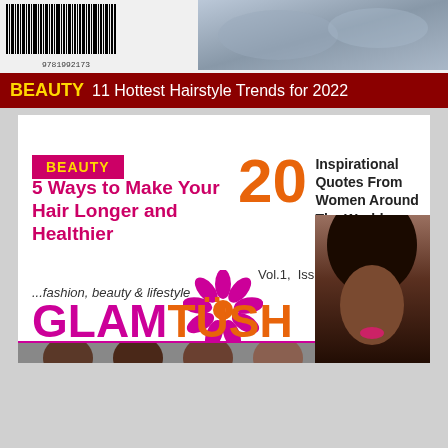[Figure (photo): Top portion of a magazine cover showing barcode and product image on right side]
BEAUTY 11 Hottest Hairstyle Trends for 2022
[Figure (photo): GlamTush magazine cover featuring a woman, beauty and lifestyle content]
BEAUTY
5 Ways to Make Your Hair Longer and Healthier
20
Inspirational Quotes From Women Around The World
Vol.1, Issue1
...fashion, beauty & lifestyle
GLAMTUSH